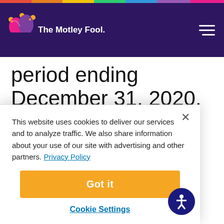The Motley Fool
period ending December 31, 2020.
NorthWestern Corp (NWE -0.73%)
This website uses cookies to deliver our services and to analyze traffic. We also share information about your use of our site with advertising and other partners. Privacy Policy
Got it
Cookie Settings